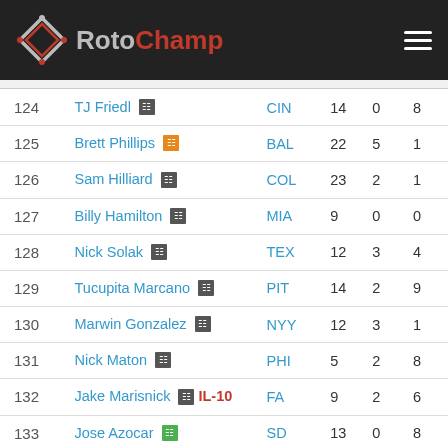RotoChamp
| # | Player | Team | G | HR | RBI |
| --- | --- | --- | --- | --- | --- |
| 124 | TJ Friedl | CIN | 14 | 0 | 8 |
| 125 | Brett Phillips | BAL | 22 | 5 | 1 |
| 126 | Sam Hilliard | COL | 23 | 2 | 1 |
| 127 | Billy Hamilton | MIA | 9 | 0 | 0 |
| 128 | Nick Solak | TEX | 12 | 3 | 4 |
| 129 | Tucupita Marcano | PIT | 14 | 2 | 9 |
| 130 | Marwin Gonzalez | NYY | 12 | 3 | 1 |
| 131 | Nick Maton | PHI | 5 | 2 | 8 |
| 132 | Jake Marisnick IL-10 | FA | 9 | 2 | 6 |
| 133 | Jose Azocar | SD | 13 | 0 | 8 |
| 134 | Jarred Kelenic | SEA | 12 | 4 | 1 |
| 135 | Miguel Andujar | NYY | 7 | 0 | 5 |
| 136 | Aristides Aquino | CIN | 13 | 4 | 1 |
| 137 | Tyler Nevin | BAL | 17 | 2 | 1 |